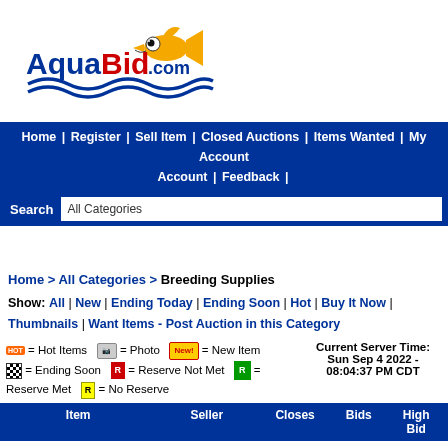[Figure (logo): AquaBid.com logo with cartoon fish character, blue wave design, red and blue text]
Home | Register | Sell Item | Closed Auctions | Items Wanted | My Account | Feedback |
Search  All Categories
Home > All Categories > Breeding Supplies
Show: All | New | Ending Today | Ending Soon | Hot | Buy It Now | Thumbnails | Want Items - Post Auction in this Category
= Hot Items   = Photo   = New Item   = Ending Soon   = Reserve Not Met   = Reserve Met   = No Reserve   Current Server Time: Sun Sep 4 2022 - 08:04:37 PM CDT
| Item | Seller | Closes | Bids | High Bid |
| --- | --- | --- | --- | --- |